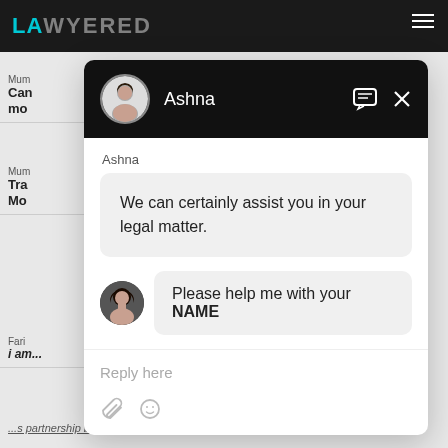[Figure (screenshot): Lawyered website chat widget screenshot showing a chat interface with agent Ashna. The background shows the Lawyered website navigation bar with teal and grey logo text. The chat overlay has a black header with agent photo and name 'Ashna', chat icons, and close button. Two message bubbles are shown: bot message 'We can certainly assist you in your legal matter.' and user message 'Please help me with your NAME' with emphasis on NAME. At the bottom is a reply input area with placeholder text 'Reply here' and attachment/emoji icons.]
LAWYERED
Ashna
We can certainly assist you in your legal matter.
Please help me with your NAME
Reply here